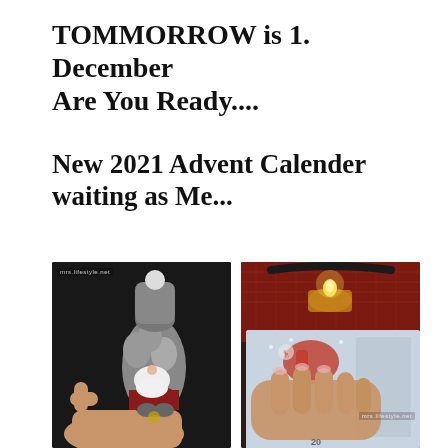TOMMORROW is 1. December Are You Ready....
New 2021 Advent Calender waiting as Me...
[Figure (photo): A hand holding a small fluffy grey gnome figurine with a white beard, red outfit, and a bell, against a dark background. A small watermark reads 'mrs.lifestyle.net' in the top-left corner.]
[Figure (photo): A hand with manicured nails resting on an advent calendar with Christmas imagery. A lit tea candle is visible in the upper portion on a red woven mat. A small watermark reads 'mrs.lifestyle.net' in the lower-right area. The number '20' is visible at the bottom.]